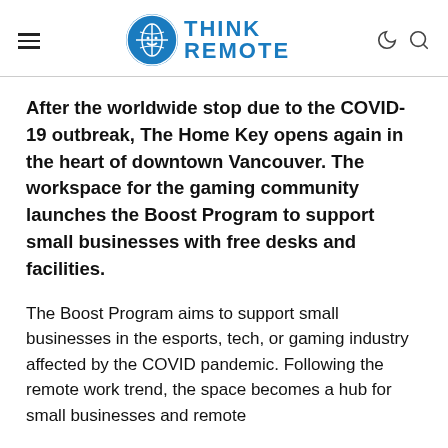Think Remote
After the worldwide stop due to the COVID-19 outbreak, The Home Key opens again in the heart of downtown Vancouver. The workspace for the gaming community launches the Boost Program to support small businesses with free desks and facilities.
The Boost Program aims to support small businesses in the esports, tech, or gaming industry affected by the COVID pandemic. Following the remote work trend, the space becomes a hub for small businesses and remote workers. The space relies on different revenue streams to…